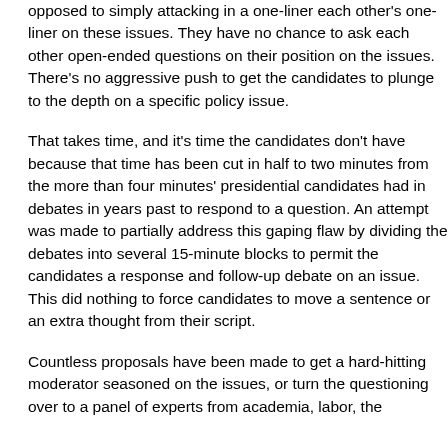opposed to simply attacking in a one-liner each other's one-liner on these issues. They have no chance to ask each other open-ended questions on their position on the issues. There's no aggressive push to get the candidates to plunge to the depth on a specific policy issue.
That takes time, and it's time the candidates don't have because that time has been cut in half to two minutes from the more than four minutes' presidential candidates had in debates in years past to respond to a question. An attempt was made to partially address this gaping flaw by dividing the debates into several 15-minute blocks to permit the candidates a response and follow-up debate on an issue. This did nothing to force candidates to move a sentence or an extra thought from their script.
Countless proposals have been made to get a hard-hitting moderator seasoned on the issues, or turn the questioning over to a panel of experts from academia, labor, the